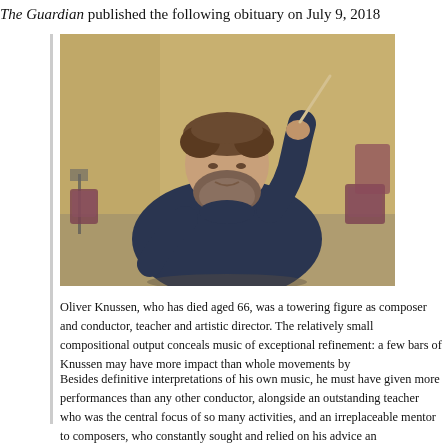The Guardian published the following obituary on July 9, 2018
[Figure (photo): A heavyset man with curly hair and a beard wearing a dark navy sweater, holding a conductor's baton raised in his right hand, photographed in what appears to be a concert hall or rehearsal space with chairs and music stands visible in the background.]
Oliver Knussen, who has died aged 66, was a towering figure as composer and conductor, teacher and artistic director. The relatively small compositional output conceals music of exceptional refinement: a few bars of Knussen may have more impact than whole movements by
Besides definitive interpretations of his own music, he must have given more performances than any other conductor, alongside an outstanding teacher who was the central focus of so many activities, and an irreplaceable mentor to composers, who constantly sought and relied on his advice an